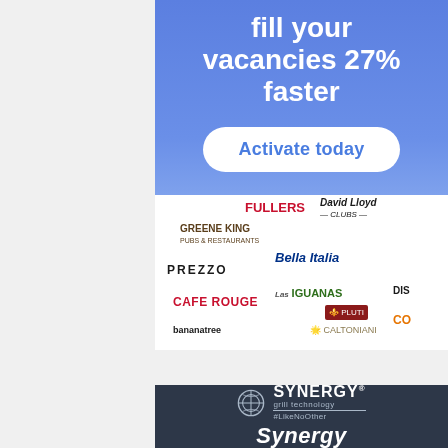[Figure (infographic): Blue gradient advertisement banner with white bold text reading 'fill your vacancies 27% faster' and a white rounded button labeled 'Activate today']
[Figure (infographic): White panel showing logos of hospitality brands: Greene King, Fuller's, David Lloyd, Prezzo, Bella Italia, Cafe Rouge, Las Iguanas, Banana Tree, Caltoniani, Pluti, Cos, and partially visible others]
[Figure (logo): Synergy Grill Technology logo and brand name on dark navy background with tagline #LikeNoOther and 'Synergy' heading text below]